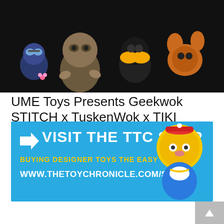[Figure (photo): Photo of designer toy figures on dark background including character figurines with goggles, creature figures, and character with orange ears]
UME Toys Presents Geekwok STITCH x TuskenWok x TIKI STITCH
by Andy
3 days ago
[Figure (infographic): Vote buttons (up arrow and down arrow) with vote count of 0]
[Figure (infographic): Advertisement banner: VISIT THE TTC SHOP - BUYING DESIGNER TOYS THE EASY WAY! WWW.THETOYCHRONICLE.COM/SHOP with doll image]